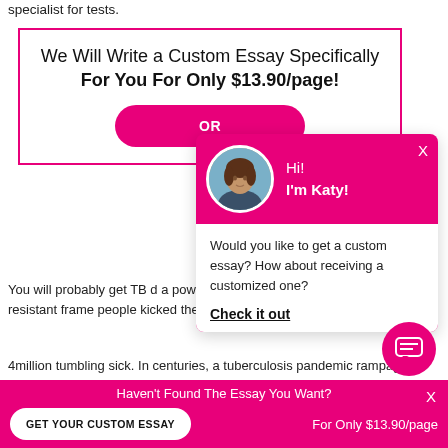specialist for tests.
[Figure (infographic): Pink-bordered promotional box: 'We Will Write a Custom Essay Specifically For You For Only $13.90/page!' with a pink button partially visible labeled 'OR']
[Figure (infographic): Pink chat popup with circular avatar photo of a woman, text 'Hi! I'm Katy!', X close button, white body with text 'Would you like to get a custom essay? How about receiving a customized one?' and 'Check it out' link]
You will probably get TB d a powerless resistant frame people kicked the bucket t
4million tumbling sick. In centuries, a tuberculosis pandemic rampaged aha Europe and North America, in front of the German
[Figure (infographic): Pink circular chat icon button at bottom right]
Haven't Found The Essay You Want?
GET YOUR CUSTOM ESSAY
For Only $13.90/page